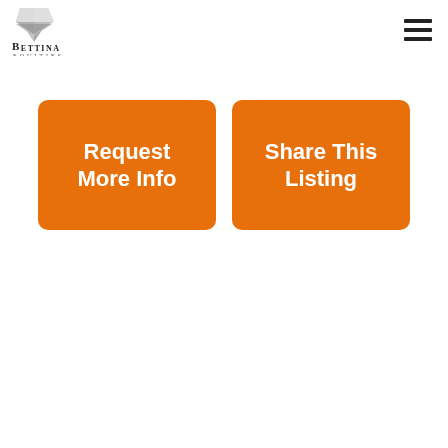[Figure (logo): Bettina Equities logo with diamond/crystal shape and text 'BETTINA EQUITIES']
Request More Info
Share This Listing